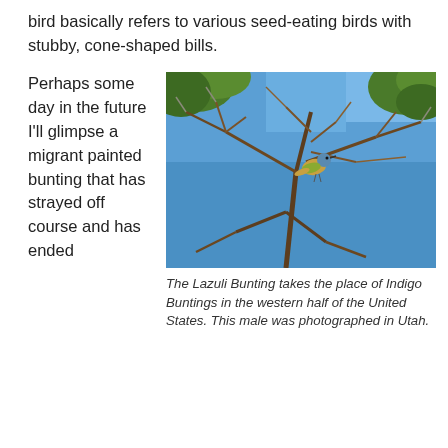bird basically refers to various seed-eating birds with stubby, cone-shaped bills.
Perhaps some day in the future I'll glimpse a migrant painted bunting that has strayed off course and has ended
[Figure (photo): A Lazuli Bunting bird perched on bare branches against a blue sky with green foliage in the background.]
The Lazuli Bunting takes the place of Indigo Buntings in the western half of the United States. This male was photographed in Utah.